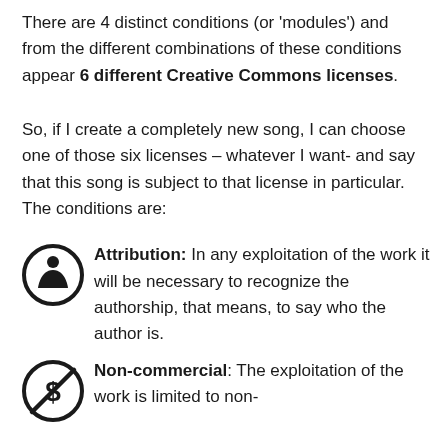There are 4 distinct conditions (or 'modules') and from the different combinations of these conditions appear 6 different Creative Commons licenses.
So, if I create a completely new song, I can choose one of those six licenses – whatever I want- and say that this song is subject to that license in particular. The conditions are:
Attribution: In any exploitation of the work it will be necessary to recognize the authorship, that means, to say who the author is.
Non-commercial: The exploitation of the work is limited to non-